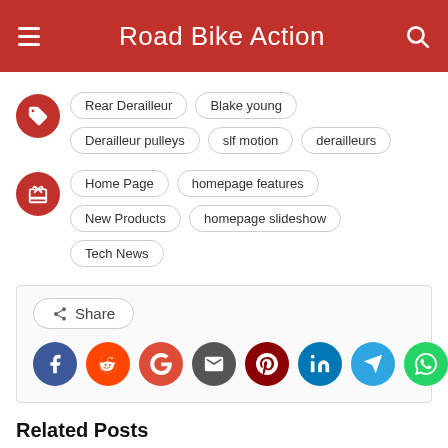Road Bike Action
Rear Derailleur  Blake young  Derailleur pulleys  slf motion  derailleurs
Home Page  homepage features  New Products  homepage slideshow  Tech News
Share
Related Posts
[Figure (photo): Close-up photo of a road bike drivetrain/rear derailleur]
[Figure (photo): Cyclists racing on a road, wearing cycling gear]